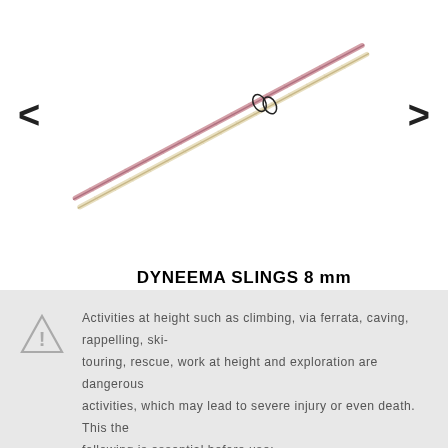[Figure (photo): Two Dyneema slings (one pink/red, one cream/yellow) laid diagonally crossing each other, with two small carabiners clipped near the center-right, on a white background.]
DYNEEMA SLINGS 8 mm
Dyneema webbing / light, thin and strong / width 8 mm / length 60 and 120 cm / strength 22 kN
Activities at height such as climbing, via ferrata, caving, rappelling, ski-touring, rescue, work at height and exploration are dangerous activities, which may lead to severe injury or even death. This the following is essential before use: